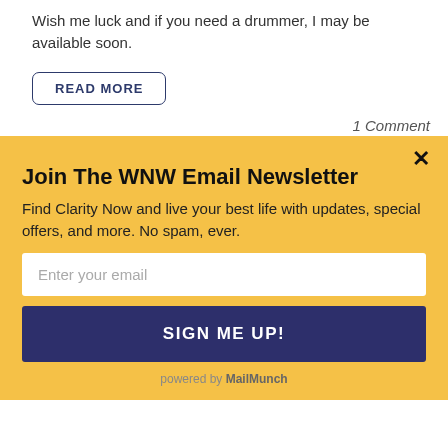Wish me luck and if you need a drummer, I may be available soon.
READ MORE
1 Comment
Join The WNW Email Newsletter
Find Clarity Now and live your best life with updates, special offers, and more. No spam, ever.
Enter your email
SIGN ME UP!
powered by MailMunch